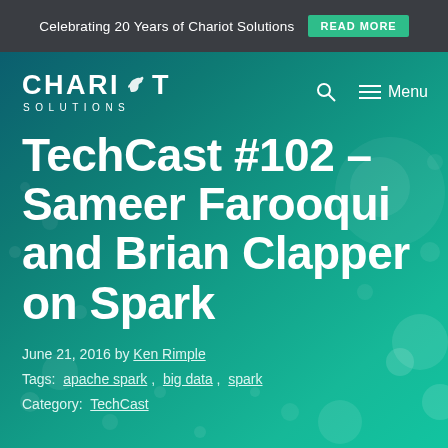Celebrating 20 Years of Chariot Solutions  READ MORE
[Figure (logo): Chariot Solutions logo with horse icon, white text on teal background]
TechCast #102 – Sameer Farooqui and Brian Clapper on Spark
June 21, 2016 by Ken Rimple
Tags:  apache spark ,  big data ,  spark
Category:  TechCast